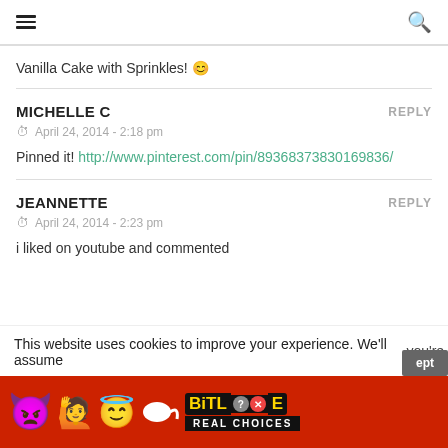Navigation menu | Search
Vanilla Cake with Sprinkles! 🙂
MICHELLE C
REPLY
April 24, 2014 - 2:18 pm
Pinned it! http://www.pinterest.com/pin/89368373830169836/
JEANNETTE
REPLY
April 24, 2014 - 2:23 pm
i liked on youtube and commented
This website uses cookies to improve your experience. We'll assume you're...
[Figure (advertisement): BitLife Real Choices ad banner with cartoon emoji characters on red background]